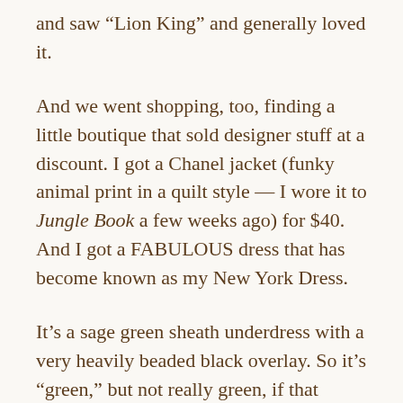and saw “Lion King” and generally loved it.
And we went shopping, too, finding a little boutique that sold designer stuff at a discount. I got a Chanel jacket (funky animal print in a quilt style — I wore it to Jungle Book a few weeks ago) for $40. And I got a FABULOUS dress that has become known as my New York Dress.
It’s a sage green sheath underdress with a very heavily beaded black overlay. So it’s “green,” but not really green, if that makes any sense. And I felt like a million bucks when I wore it to the ResGen Christmas party that year. The only time I’ve worn it. The dress goes pretty low in